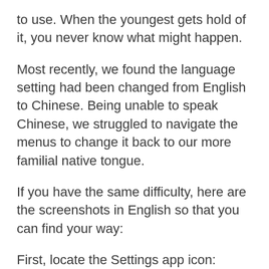to use. When the youngest gets hold of it, you never know what might happen.
Most recently, we found the language setting had been changed from English to Chinese. Being unable to speak Chinese, we struggled to navigate the menus to change it back to our more familial native tongue.
If you have the same difficulty, here are the screenshots in English so that you can find your way:
First, locate the Settings app icon:
[Figure (screenshot): iOS Settings app icon showing a gear/cog wheel on a dark grey dotted background with rounded square shape]